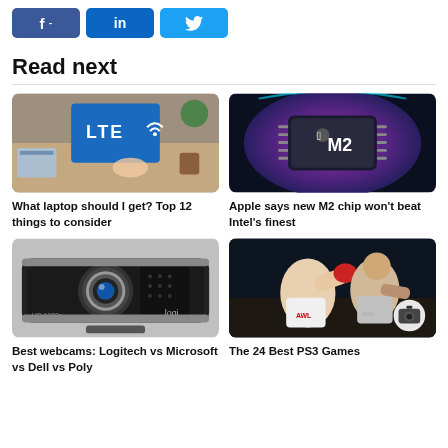[Figure (other): Facebook share button (blue, 'f -' label)]
[Figure (other): LinkedIn share button (dark blue, 'in' label)]
[Figure (other): Twitter share button (light blue, bird icon)]
Read next
[Figure (photo): Top-down view of a laptop on a desk showing LTE wifi symbol on screen, with notebooks and plant around it]
What laptop should I get? Top 12 things to consider
[Figure (photo): Apple M2 chip glowing with colorful lighting on dark background]
Apple says new M2 chip won't beat Intel's finest
[Figure (photo): Logitech HD1080p webcam close-up on gray background with 'logi' branding]
Best webcams: Logitech vs Microsoft vs Dell vs Poly
[Figure (photo): MMA fighters in UFC fight, one punching the other, with camera icon overlay]
The 24 Best PS3 Games